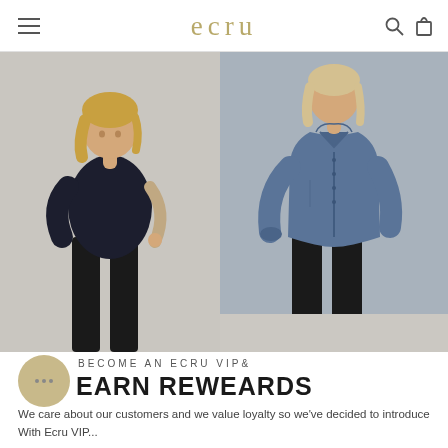ecru
[Figure (photo): Two fashion model photos side by side: left shows a woman in a dark navy short-sleeve knit top and black pants against a light grey background; right shows a woman in a blue satin long-sleeve button-up shirt and black pants against a light grey background.]
BECOME AN ECRU VIP&
EARN REWEARDS
We care about our customers and we value loyalty so we've decided to introduce With Ecru VIP...